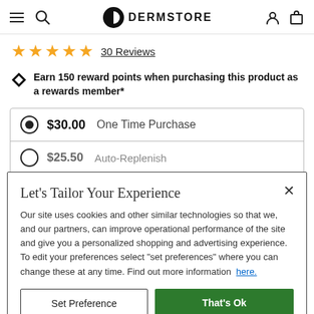DERMSTORE
★★★★★  30 Reviews
Earn 150 reward points when purchasing this product as a rewards member*
$30.00  One Time Purchase
$25.50  Auto-Replenish
Let's Tailor Your Experience
Our site uses cookies and other similar technologies so that we, and our partners, can improve operational performance of the site and give you a personalized shopping and advertising experience. To edit your preferences select "set preferences" where you can change these at any time. Find out more information  here.
Set Preference
That's Ok